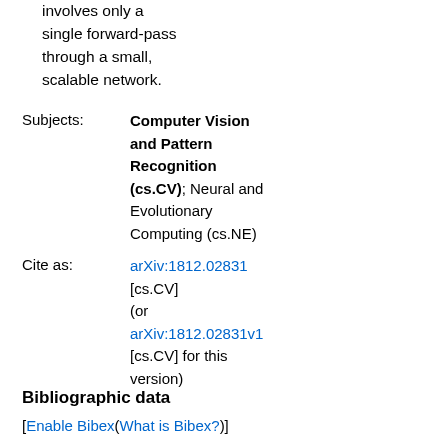involves only a single forward-pass through a small, scalable network.
Subjects: Computer Vision and Pattern Recognition (cs.CV); Neural and Evolutionary Computing (cs.NE)
Cite as: arXiv:1812.02831 [cs.CV] (or arXiv:1812.02831v1 [cs.CV] for this version)
Bibliographic data
[Enable Bibex(What is Bibex?)]